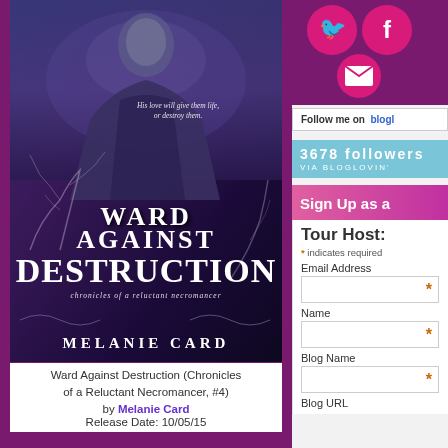[Figure (illustration): Book cover of Ward Against Destruction by Melanie Card - dark fantasy cover showing a male figure in period clothing against a dark purple/blue background with bare tree branches. Title text reads: Ward Against Destruction, chronicles of a reluctant necromancer, by Melanie Card. Tagline: His love will give them life, or destroy them.]
Ward Against Destruction (Chronicles of a Reluctant Necromancer, #4)
by Melanie Card
Release Date: 10/05/15
[Figure (screenshot): Social media icons: Twitter bird, Facebook F, and email envelope icon, all on pink/magenta circular buttons against purple background]
Follow me on bloglovin
3678 followers VIA BLOGLOVIN'
Sign Up as a
Tour Host:
* indicates required
Email Address
Name
Blog Name
Blog URL